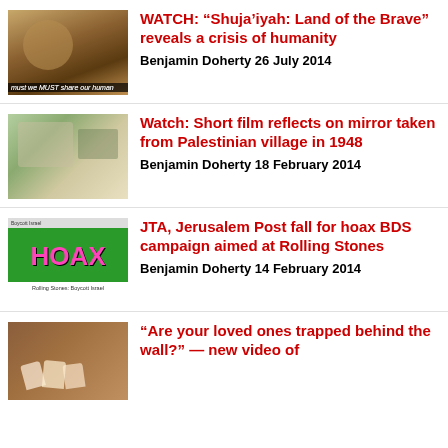[Figure (photo): Thumbnail of a child sitting on a patterned rug with text overlay 'must we MUST share our human']
WATCH: “Shuja’iyah: Land of the Brave” reveals a crisis of humanity
Benjamin Doherty 26 July 2014
[Figure (photo): Thumbnail of an elderly man sitting at a table with lace tablecloth]
Watch: Short film reflects on mirror taken from Palestinian village in 1948
Benjamin Doherty 18 February 2014
[Figure (photo): Thumbnail showing a green background with large pink HOAX text and Rolling Stones boycott Israel caption]
JTA, Jerusalem Post fall for hoax BDS campaign aimed at Rolling Stones
Benjamin Doherty 14 February 2014
[Figure (photo): Thumbnail of paper heart cutouts on a wooden surface]
“Are your loved ones trapped behind the wall?” — new video of